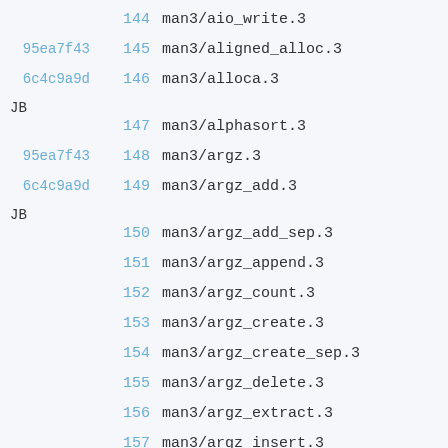144  man3/aio_write.3
95ea7f43  145  man3/aligned_alloc.3
6c4c9a9d  146  man3/alloca.3
JB
147  man3/alphasort.3
95ea7f43  148  man3/argz.3
6c4c9a9d  149  man3/argz_add.3
JB
150  man3/argz_add_sep.3
151  man3/argz_append.3
152  man3/argz_count.3
153  man3/argz_create.3
154  man3/argz_create_sep.3
155  man3/argz_delete.3
156  man3/argz_extract.3
157  man3/argz_insert.3
158  man3/argz_next.3